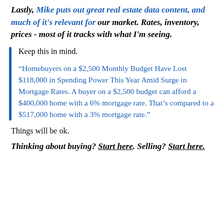Lastly, Mike puts out great real estate data content, and much of it's relevant for our market. Rates, inventory, prices - most of it tracks with what I'm seeing.
Keep this in mind.
“Homebuyers on a $2,500 Monthly Budget Have Lost $118,000 in Spending Power This Year Amid Surge in Mortgage Rates. A buyer on a $2,500 budget can afford a $400,000 home with a 6% mortgage rate. That’s compared to a $517,000 home with a 3% mortgage rate.”
Things will be ok.
Thinking about buying? Start here. Selling? Start here.